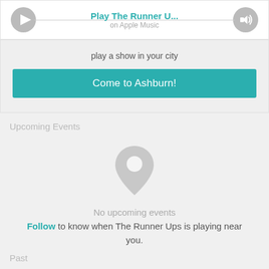Play The Runner U... on Apple Music
play a show in your city
Come to Ashburn!
Upcoming Events
[Figure (illustration): Gray map pin / location marker icon]
No upcoming events
Follow to know when The Runner Ups is playing near you.
Past